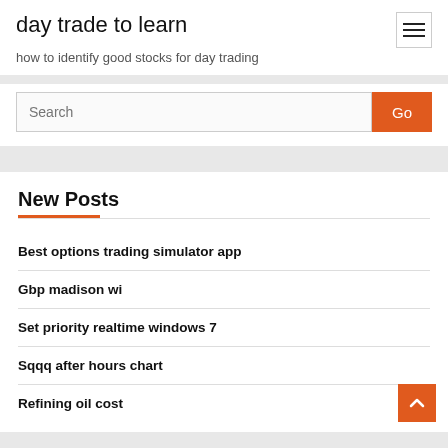day trade to learn
how to identify good stocks for day trading
New Posts
Best options trading simulator app
Gbp madison wi
Set priority realtime windows 7
Sqqq after hours chart
Refining oil cost